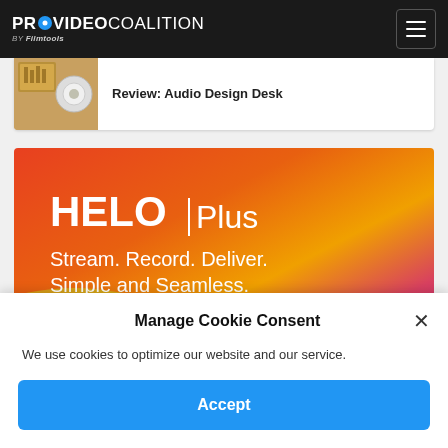PROVIDEO COALITION BY Filmtools
Review: Audio Design Desk
[Figure (photo): AJA HELO Plus advertisement banner — colorful gradient background (red, orange, yellow) with text: HELO Plus | Stream. Record. Deliver. Simple and Seamless. — and photo of the AJA HELO Plus hardware device]
Manage Cookie Consent
We use cookies to optimize our website and our service.
Accept